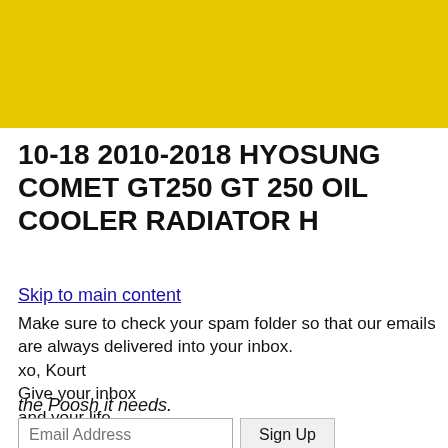[Figure (photo): Photo of a black oil cooler radiator part on a yellow background]
10-18 2010-2018 HYOSUNG COMET GT250 GT 250 OIL COOLER RADIATOR H
Skip to main content
Make sure to check your spam folder so that our emails are always delivered into your inbox.
xo, Kourt
Give your inbox
and your life
the Poosh it needs.
Email Address
Sign Up
By clicking SIGN UP, you agree to receive emails from Poosh and